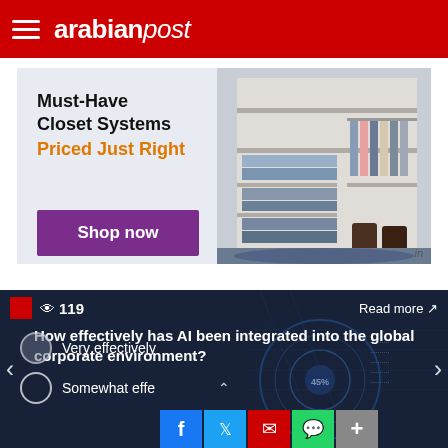arabianpost
[Figure (other): Advertisement banner for closet systems. Text: Must-Have Closet Systems Priced Just Right. Purple Shop now button. Image of organized closet on the right.]
[Figure (other): Poll card with dark blue background and tech imagery. Shows eye icon with 119 views, Read more link, navigation arrows, question: How effectively has AI been integrated into the global corporate environment? Options: Very effectively, Somewhat effectively. Social share buttons: Facebook, Twitter, Email, WhatsApp, Plus.]
How effectively has AI been integrated into the global corporate environment?
Very effectively
Somewhat effectively